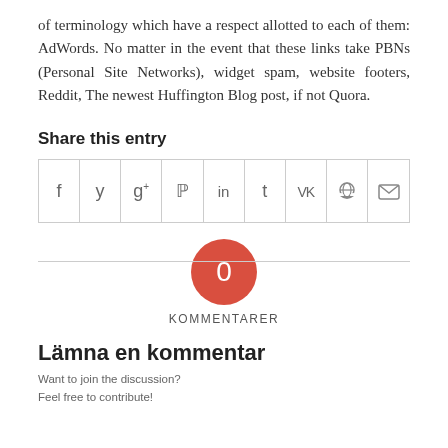of terminology which have a respect allotted to each of them: AdWords. No matter in the event that these links take PBNs (Personal Site Networks), widget spam, website footers, Reddit, The newest Huffington Blog post, if not Quora.
Share this entry
[Figure (other): Social share button row with icons for Facebook, Twitter, Google+, Pinterest, LinkedIn, Tumblr, VK, Reddit, and email]
[Figure (other): Red circle with '0' and label 'KOMMENTARER' below]
Lämna en kommentar
Want to join the discussion?
Feel free to contribute!